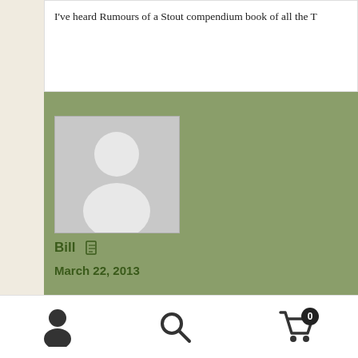I've heard Rumours of a Stout compendium book of all the T
[Figure (photo): Generic user avatar placeholder — silhouette of a person on gray background]
Bill  March 22, 2013
@ John: No, it wasn't Rhino. Those guys (Harold Bronson a and still are. Richard runs Shout! Factory now.

Sorry to hear about your bootleg difficulties in Oz. TMOQ en

On topic, were there any bootlegs ever made of Daddy Cool